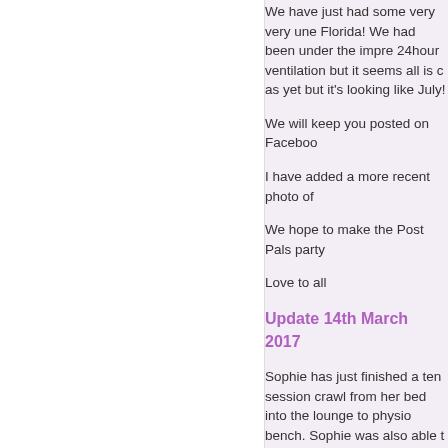We have just had some very very une Florida! We had been under the impre 24hour ventilation but it seems all is c as yet but it's looking like July!
We will keep you posted on Faceboo
I have added a more recent photo of
We hope to make the Post Pals party
Love to all
Update 14th March 2017
Sophie has just finished a ten session crawl from her bed into the lounge to physio bench. Sophie was also able t we are hoping to carry on with this ph
Sophie has had three hospital visits s fewer of these in the future as the we counts will go up to normal levels thre Mr Whi...